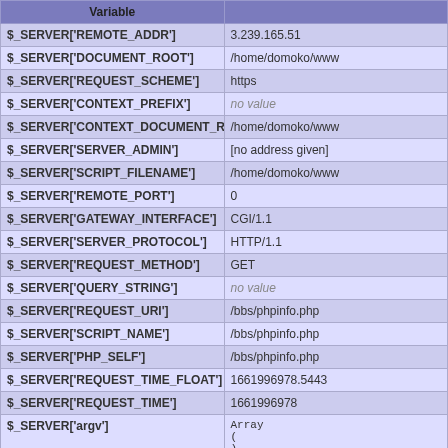| Variable |  |
| --- | --- |
| $_SERVER['REMOTE_ADDR'] | 3.239.165.51 |
| $_SERVER['DOCUMENT_ROOT'] | /home/domoko/www |
| $_SERVER['REQUEST_SCHEME'] | https |
| $_SERVER['CONTEXT_PREFIX'] | no value |
| $_SERVER['CONTEXT_DOCUMENT_ROOT'] | /home/domoko/www |
| $_SERVER['SERVER_ADMIN'] | [no address given] |
| $_SERVER['SCRIPT_FILENAME'] | /home/domoko/www |
| $_SERVER['REMOTE_PORT'] | 0 |
| $_SERVER['GATEWAY_INTERFACE'] | CGI/1.1 |
| $_SERVER['SERVER_PROTOCOL'] | HTTP/1.1 |
| $_SERVER['REQUEST_METHOD'] | GET |
| $_SERVER['QUERY_STRING'] | no value |
| $_SERVER['REQUEST_URI'] | /bbs/phpinfo.php |
| $_SERVER['SCRIPT_NAME'] | /bbs/phpinfo.php |
| $_SERVER['PHP_SELF'] | /bbs/phpinfo.php |
| $_SERVER['REQUEST_TIME_FLOAT'] | 1661996978.5443 |
| $_SERVER['REQUEST_TIME'] | 1661996978 |
| $_SERVER['argv'] | Array
(
) |